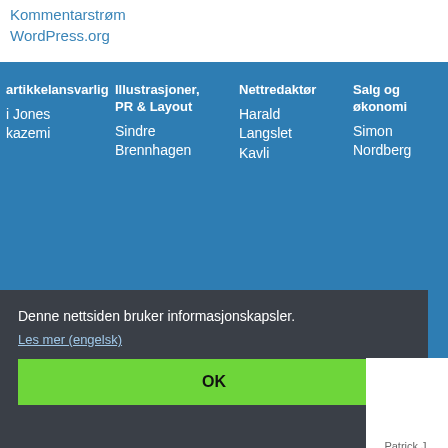Kommentarstrøm
WordPress.org
artikkelansvarlig
i Jones
kazemi
Illustrasjoner, PR & Layout
Sindre Brennhagen
Nettredaktør
Harald Langslet Kavli
Salg og økonomi
Simon Nordberg
Denne nettsiden bruker informasjonskapsler.
Les mer (engelsk)
OK
Patrick J.